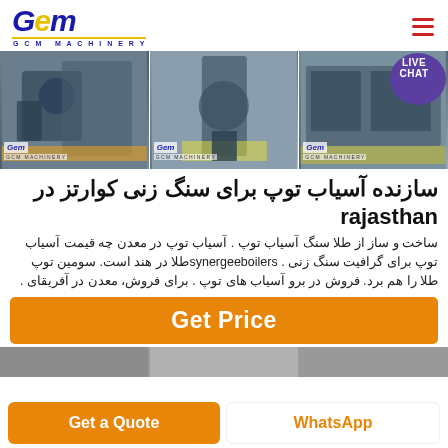[Figure (logo): GCM Machinery logo with blue stylized GCM text and yellow underline, subtitle G C M MACHINERY]
[Figure (photo): Three industrial machinery photos side by side with GCM branding, showing ball mill and crushing equipment]
سازنده آسیاب توپ برای سنگ زنی کوارتز در rajasthan
ساخت و ساز از طلا سنگ آسیاب توپ . آسیاب توپ در معدن چه قیمت آسیاب توپ برای گرافیت سنگ زنی . synergeeboilersطلا در هند است. سومین توپ طلا را هم برد. فروش در برو آسیاب های توپ . برای فروش، معدن در آفریقای .
[Figure (other): Orange Get Price button]
[Figure (photo): Bottom strip of machinery images]
Get a Quote
WhatsApp